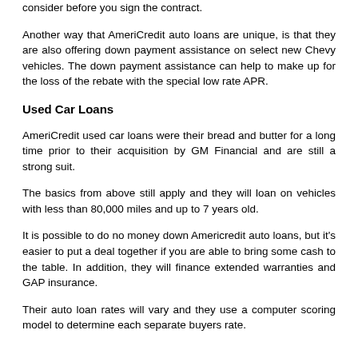consider before you sign the contract.
Another way that AmeriCredit auto loans are unique, is that they are also offering down payment assistance on select new Chevy vehicles. The down payment assistance can help to make up for the loss of the rebate with the special low rate APR.
Used Car Loans
AmeriCredit used car loans were their bread and butter for a long time prior to their acquisition by GM Financial and are still a strong suit.
The basics from above still apply and they will loan on vehicles with less than 80,000 miles and up to 7 years old.
It is possible to do no money down Americredit auto loans, but it's easier to put a deal together if you are able to bring some cash to the table. In addition, they will finance extended warranties and GAP insurance.
Their auto loan rates will vary and they use a computer scoring model to determine each separate buyers rate.